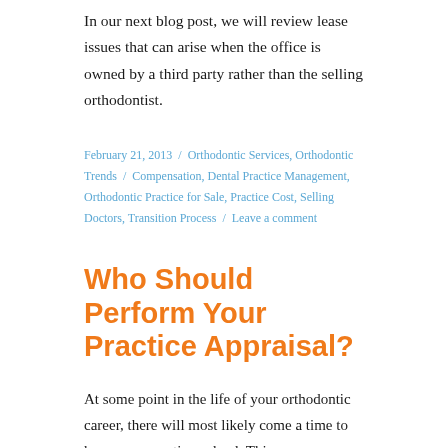In our next blog post, we will review lease issues that can arise when the office is owned by a third party rather than the selling orthodontist.
February 21, 2013 / Orthodontic Services, Orthodontic Trends / Compensation, Dental Practice Management, Orthodontic Practice for Sale, Practice Cost, Selling Doctors, Transition Process / Leave a comment
Who Should Perform Your Practice Appraisal?
At some point in the life of your orthodontic career, there will most likely come a time to have your practice valued. This process usually occurs only once for most